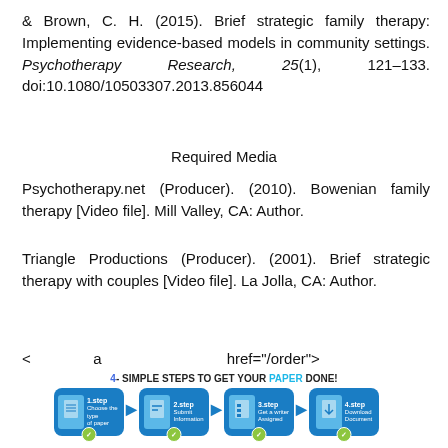& Brown, C. H. (2015). Brief strategic family therapy: Implementing evidence-based models in community settings. Psychotherapy Research, 25(1), 121–133. doi:10.1080/10503307.2013.856044
Required Media
Psychotherapy.net (Producer). (2010). Bowenian family therapy [Video file]. Mill Valley, CA: Author.
Triangle Productions (Producer). (2001). Brief strategic therapy with couples [Video file]. La Jolla, CA: Author.
< a href="/order">
[Figure (infographic): 4-Simple Steps to Get Your Paper Done advertisement banner with 4 blue step boxes (1.step Choose the type of paper, 2.step Submit Information, 3.step Get a writer Assigned, 4.step Download Document) connected by arrows, with green checkmark badges and an ORDER NOW button.]